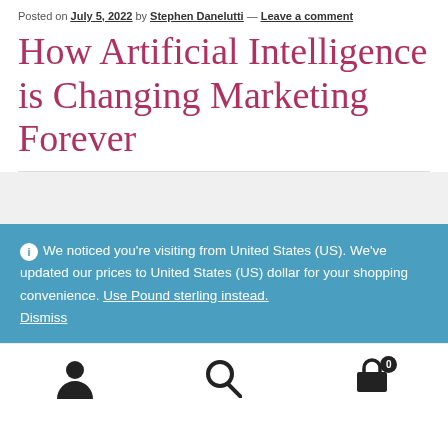Posted on July 5, 2022 by Stephen Danelutti — Leave a comment
How Artificial Intelligence is Changing Marketing Forever
We noticed you're visiting from United States (US). We've updated our prices to United States (US) dollar for your shopping convenience. Use Pound sterling instead. Dismiss